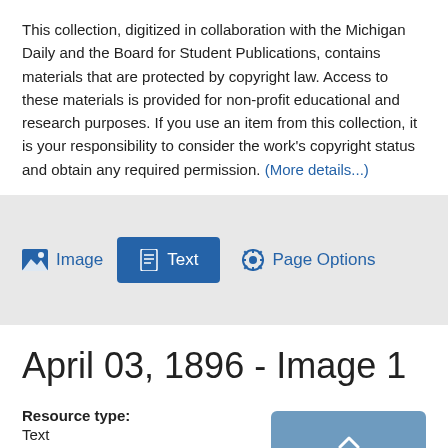This collection, digitized in collaboration with the Michigan Daily and the Board for Student Publications, contains materials that are protected by copyright law. Access to these materials is provided for non-profit educational and research purposes. If you use an item from this collection, it is your responsibility to consider the work's copyright status and obtain any required permission. (More details...)
[Figure (screenshot): Navigation button bar with Image, Text, and Page Options buttons on a gray background]
April 03, 1896 - Image 1
Resource type: Text
Publication: